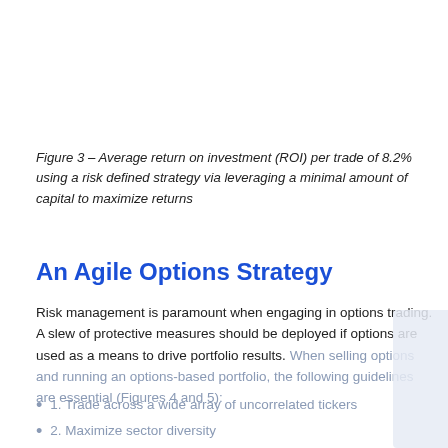Figure 3 – Average return on investment (ROI) per trade of 8.2% using a risk defined strategy via leveraging a minimal amount of capital to maximize returns
An Agile Options Strategy
Risk management is paramount when engaging in options trading. A slew of protective measures should be deployed if options are used as a means to drive portfolio results. When selling options and running an options-based portfolio, the following guidelines are essential (Figures 4 and 5):
1. Trade across a wide array of uncorrelated tickers
2. Maximize sector diversity